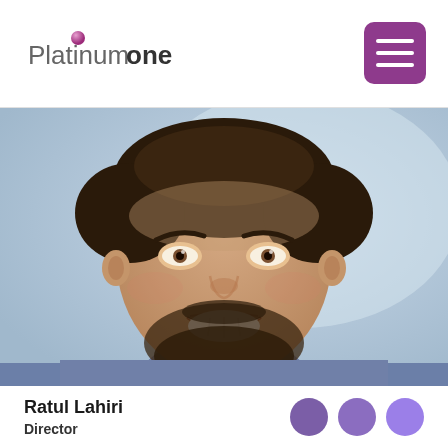PlatinumOne
[Figure (photo): Headshot of a smiling man with dark beard and hair, wearing a blue t-shirt, photographed against a light blue background]
Ratul Lahiri
Director